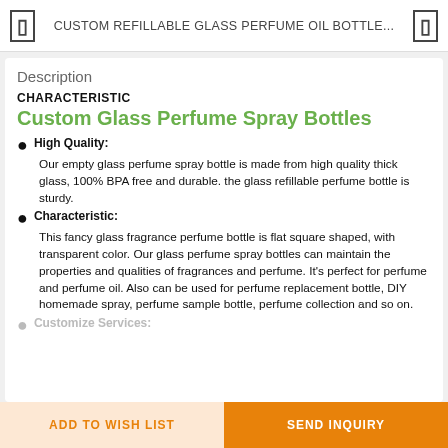CUSTOM REFILLABLE GLASS PERFUME OIL BOTTLE...
Description
CHARACTERISTIC
Custom Glass Perfume Spray Bottles
High Quality: Our empty glass perfume spray bottle is made from high quality thick glass, 100% BPA free and durable. the glass refillable perfume bottle is sturdy.
Characteristic: This fancy glass fragrance perfume bottle is flat square shaped, with transparent color. Our glass perfume spray bottles can maintain the properties and qualities of fragrances and perfume. It's perfect for perfume and perfume oil. Also can be used for perfume replacement bottle, DIY homemade spray, perfume sample bottle, perfume collection and so on.
Customize Services:
ADD TO WISH LIST    SEND INQUIRY